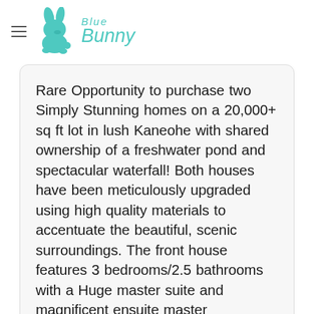[Figure (logo): Blue Bunny logo with teal bunny silhouette and teal cursive text reading 'Blue Bunny']
Rare Opportunity to purchase two Simply Stunning homes on a 20,000+ sq ft lot in lush Kaneohe with shared ownership of a freshwater pond and spectacular waterfall! Both houses have been meticulously upgraded using high quality materials to accentuate the beautiful, scenic surroundings. The front house features 3 bedrooms/2.5 bathrooms with a Huge master suite and magnificent ensuite master